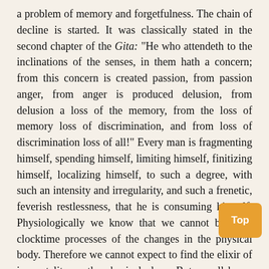a problem of memory and forgetfulness. The chain of decline is started. It was classically stated in the second chapter of the Gita: "He who attendeth to the inclinations of the senses, in them hath a concern; from this concern is created passion, from passion anger, from anger is produced delusion, from delusion a loss of the memory, from the loss of memory loss of discrimination, and from loss of discrimination loss of all!" Every man is fragmenting himself, spending himself, limiting himself, finitizing himself, localizing himself, to such a degree, with such an intensity and irregularity, and such a frenetic, feverish restlessness, that he is consuming himself. Physiologically we know that we cannot beat the clocktime processes of the changes in the physical body. Therefore we cannot expect to find the elixir of immortality on the physical plane. But we all know that by attending to the process of growth and change, and by awareness what happens to us in sickness, that we do have some control and can make a difference by our own attitud